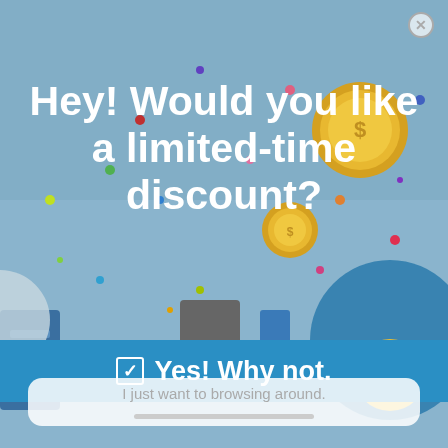[Figure (illustration): Popup modal with a blue-grey illustrated background featuring floating coins, confetti dots, and a cartoon character with a yellow circular badge. Close button (X) in top-right corner.]
Hey! Would you like a limited-time discount?
☑ Yes! Why not.
I just want to browsing around.